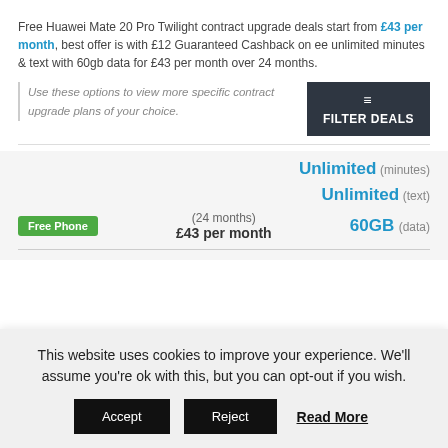Free Huawei Mate 20 Pro Twilight contract upgrade deals start from £43 per month, best offer is with £12 Guaranteed Cashback on ee unlimited minutes & text with 60gb data for £43 per month over 24 months.
Use these options to view more specific contract upgrade plans of your choice.
Unlimited (minutes)
Unlimited (text)
Free Phone  (24 months)  £43 per month  60GB (data)
This website uses cookies to improve your experience. We'll assume you're ok with this, but you can opt-out if you wish.